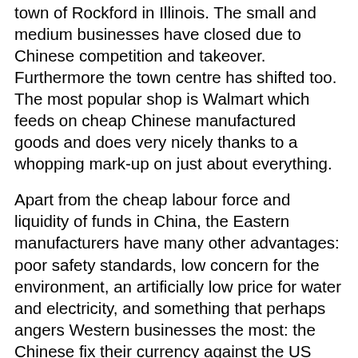town of Rockford in Illinois.  The small and medium businesses have closed due to Chinese competition and takeover.  Furthermore the town centre has shifted too.  The most popular shop is Walmart which feeds on cheap Chinese manufactured goods and does very nicely thanks to a whopping mark-up on just about everything.
Apart from the cheap labour force and liquidity of funds in China, the Eastern manufacturers have many other advantages: poor safety standards, low concern for the environment, an artificially low price for water and electricity, and something that perhaps angers Western businesses the most: the Chinese fix their currency against the US dollar.  This keeps it undervalued  and gives their exports a greater competitiveness.
Rockford shows that it is the middle classes that lose out under China's impact.  The work force cannot move to companies that need them, but the top managers do not lose their jobs - they still manage from head office - in fact the upper managers benefit from increased bonuses.  It is the lower levels of management and the factory floor jobs that are lost.